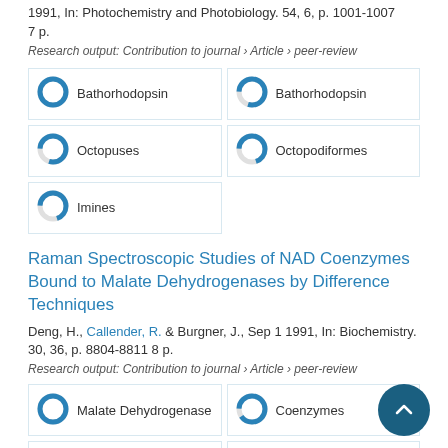1991, In: Photochemistry and Photobiology. 54, 6, p. 1001-1007 7 p.
Research output: Contribution to journal › Article › peer-review
[Figure (infographic): Keyword boxes with donut icons: Bathorhodopsin (100%), Octopuses (80%), Imines (70%), Bathorhodopsin (80%), Octopodiformes (70%)]
Raman Spectroscopic Studies of NAD Coenzymes Bound to Malate Dehydrogenases by Difference Techniques
Deng, H., Callender, R. & Burgner, J., Sep 1 1991, In: Biochemistry. 30, 36, p. 8804-8811 8 p.
Research output: Contribution to journal › Article › peer-review
[Figure (infographic): Keyword boxes with donut icons: Malate Dehydrogenase (100%), Coenzymes (90%), Malate (80%), Hydrogen Bonding (80%), Coenzyme (70%)]